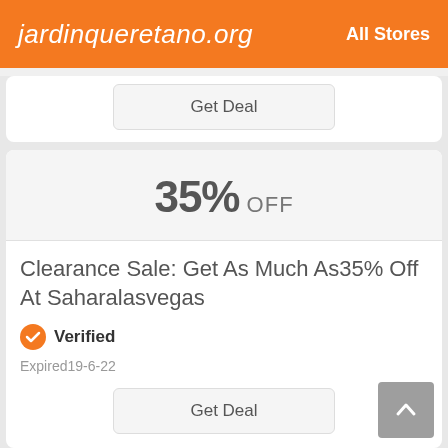jardinqueretano.org   All Stores
Get Deal
35% OFF
Clearance Sale: Get As Much As35% Off At Saharalasvegas
Verified
Expired19-6-22
Get Deal
SALES OFF
Expires On 12% Sahar...